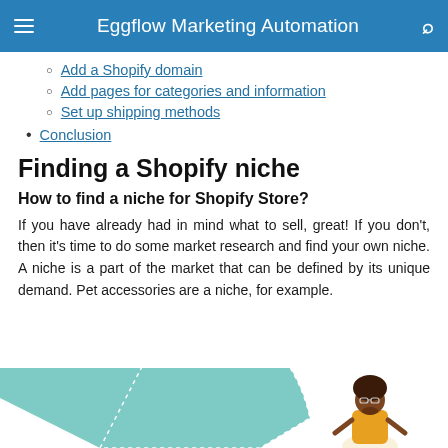Eggflow Marketing Automation
Add a Shopify domain
Add pages for categories and information
Set up shipping methods
Conclusion
Finding a Shopify niche
How to find a niche for Shopify Store?
If you have already had in mind what to sell, great! If you don't, then it's time to do some market research and find your own niche. A niche is a part of the market that can be defined by its unique demand. Pet accessories are a niche, for example.
[Figure (illustration): Partial illustration showing a teal/mint colored pie chart segment and a cartoon person with glasses and natural hair on the right side, partially visible at the bottom of the page.]